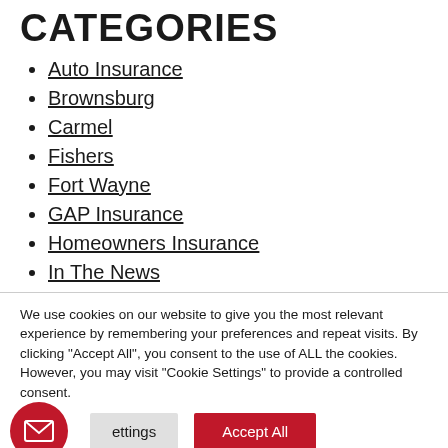CATEGORIES
Auto Insurance
Brownsburg
Carmel
Fishers
Fort Wayne
GAP Insurance
Homeowners Insurance
In The News
We use cookies on our website to give you the most relevant experience by remembering your preferences and repeat visits. By clicking "Accept All", you consent to the use of ALL the cookies. However, you may visit "Cookie Settings" to provide a controlled consent.